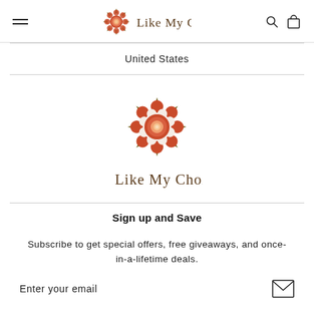[Figure (logo): Like My Choice brand logo in the navigation header with hamburger menu, mandala logo icon with cursive brand name, and search/cart icons]
United States
[Figure (logo): Large centered Like My Choice mandala logo with cursive brand name below it]
Sign up and Save
Subscribe to get special offers, free giveaways, and once-in-a-lifetime deals.
Enter your email